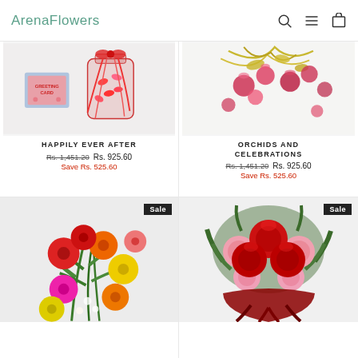ArenaFlowers
HAPPILY EVER AFTER
Rs. 1,451.20  Rs. 925.60
Save Rs. 525.60
ORCHIDS AND CELEBRATIONS
Rs. 1,451.20  Rs. 925.60
Save Rs. 525.60
[Figure (photo): Colorful gerbera daisy flower arrangement with red, orange, yellow and pink flowers with green foliage. Sale badge.]
[Figure (photo): Bouquet of red roses and pink carnations wrapped in red ribbon. Sale badge.]